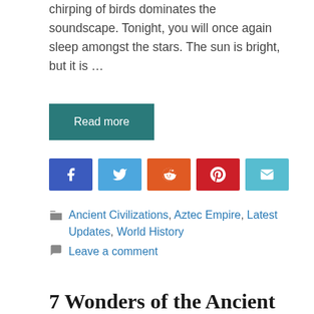chirping of birds dominates the soundscape. Tonight, you will once again sleep amongst the stars. The sun is bright, but it is …
Read more
[Figure (other): Social share buttons: Facebook, Twitter, Reddit, Pinterest, Email]
Ancient Civilizations, Aztec Empire, Latest Updates, World History
Leave a comment
7 Wonders of the Ancient